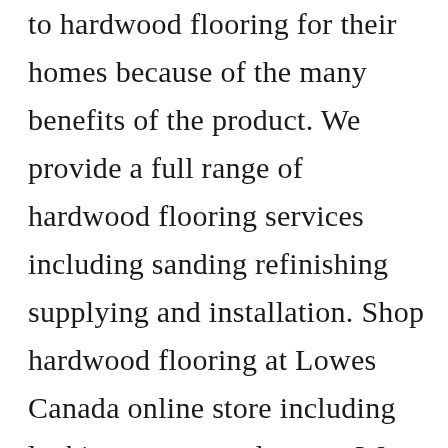to hardwood flooring for their homes because of the many benefits of the product. We provide a full range of hardwood flooring services including sanding refinishing supplying and installation. Shop hardwood flooring at Lowes Canada online store including locking tongue and grove. Were a locally owned business with roots in British Columbia for over 90 years. We also specialize in refinishing as well as gymnasiums and large-scale floors.